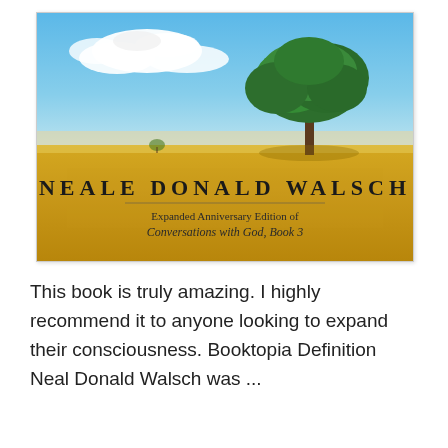[Figure (illustration): Book cover of Neale Donald Walsch's Expanded Anniversary Edition of Conversations with God, Book 3. Shows a lone green tree in a golden field under a blue sky with white clouds. The author name 'NEALE DONALD WALSCH' is displayed in large spaced serif capitals, with subtitle text below.]
This book is truly amazing. I highly recommend it to anyone looking to expand their consciousness. Booktopia Definition Neal Donald Walsch was ...